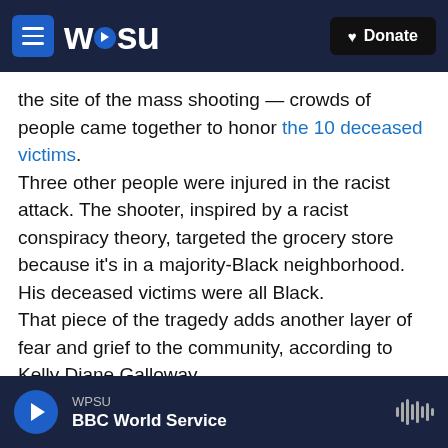WPSU — Donate
the site of the mass shooting — crowds of people came together to honor the 10 deceased victims.
Three other people were injured in the racist attack. The shooter, inspired by a racist conspiracy theory, targeted the grocery store because it's in a majority-Black neighborhood. His deceased victims were all Black.
That piece of the tragedy adds another layer of fear and grief to the community, according to Kelly Diane Galloway.
"So imagine the incredible fear that Black people...
WPSU — BBC World Service